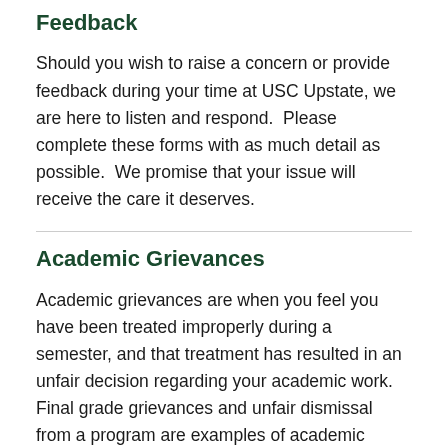Feedback
Should you wish to raise a concern or provide feedback during your time at USC Upstate, we are here to listen and respond.  Please complete these forms with as much detail as possible.  We promise that your issue will receive the care it deserves.
Academic Grievances
Academic grievances are when you feel you have been treated improperly during a semester, and that treatment has resulted in an unfair decision regarding your academic work. Final grade grievances and unfair dismissal from a program are examples of academic grievances.